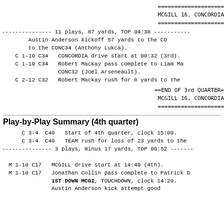====================
MCGILL 16, CONCORDIA
====================
-------------- 11 plays, 87 yards, TOP 04:38 ----------
Austin Anderson kickoff 57 yards to the CO
        to the CONC34 (Anthony Lukca).
C 1-10 C34    CONCORDIA drive start at 00:32 (3rd).
C 1-10 C34    Robert Mackay pass complete to Liam Ma
              CONC32 (Joel Arseneault).
C 2-12 C32    Robert Mackay rush for 8 yards to the
==END OF 3rd QUARTER=
MCGILL 16, CONCORDIA
====================
Play-by-Play Summary (4th quarter)
C 3-4  C40    Start of 4th quarter, clock 15:00.
C 3-4  C40    TEAM rush for loss of 23 yards to the
-------------- 3 plays, minus 17 yards, TOP 00:52 -----

M 1-10 C17    MCGILL drive start at 14:40 (4th).
M 1-10 C17    Jonathan Collin pass complete to Patrick D
              1ST DOWN MCGI, TOUCHDOWN, clock 14:20.
              Austin Anderson kick attempt good